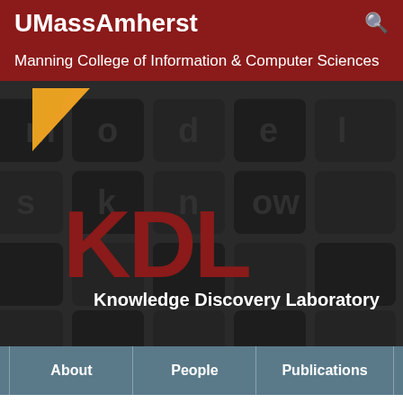UMassAmherst
Manning College of Information & Computer Sciences
[Figure (logo): KDL Knowledge Discovery Laboratory logo on dark textured background with keyboard keys, featuring large red KDL letters and a yellow triangle in the upper left corner]
About
People
Publications